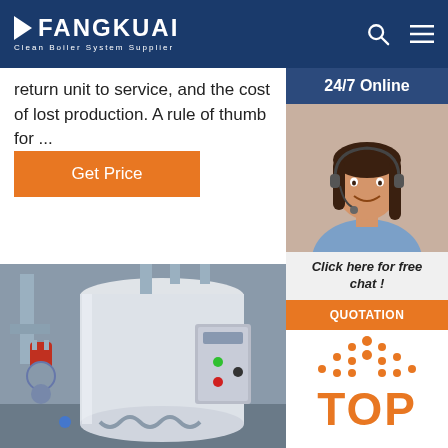FANGKUAI Clean Boiler System Supplier
return unit to service, and the cost of lost production. A rule of thumb for ...
Get Price
24/7 Online
[Figure (photo): Customer service representative wearing headset, smiling]
Click here for free chat !
QUOTATION
[Figure (photo): Industrial boiler unit with piping and control panel installed in a facility]
[Figure (logo): TOP logo with orange dot-grid arrow design]